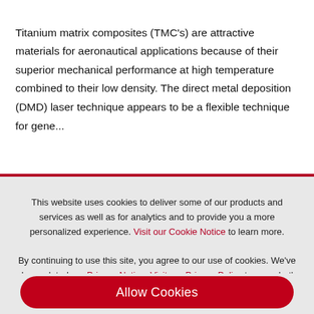Titanium matrix composites (TMC's) are attractive materials for aeronautical applications because of their superior mechanical performance at high temperature combined to their low density. The direct metal deposition (DMD) laser technique appears to be a flexible technique for gene...
This website uses cookies to deliver some of our products and services as well as for analytics and to provide you a more personalized experience. Visit our Cookie Notice to learn more.
By continuing to use this site, you agree to our use of cookies. We've also updated our Privacy Notice. Visit our Privacy Policy to see what's new.
Allow Cookies